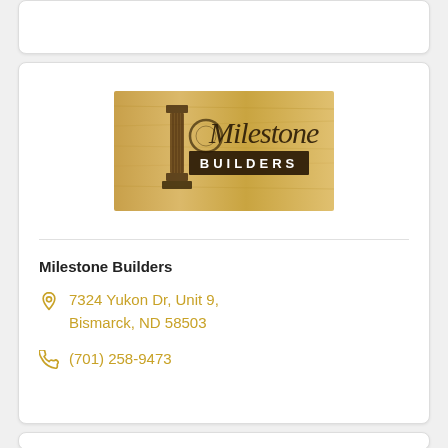[Figure (logo): Milestone Builders logo on a wood-grain background with a decorative column and stylized script text]
Milestone Builders
7324 Yukon Dr, Unit 9, Bismarck, ND 58503
(701) 258-9473